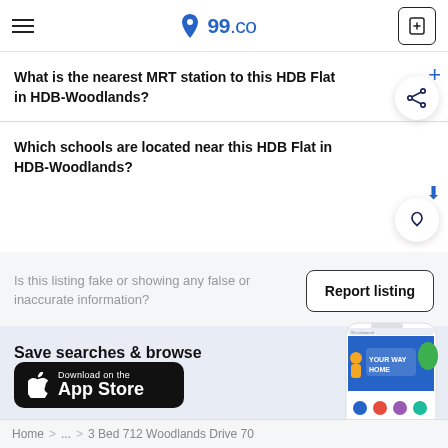99.co
What is the nearest MRT station to this HDB Flat in HDB-Woodlands?
Which schools are located near this HDB Flat in HDB-Woodlands?
Is this listing fake or showing any false or inaccurate information?
Report listing
Save searches & browse faster on the app
Download on the App Store
Home > ... > 3 Bed 712 Woodlands Drive 70